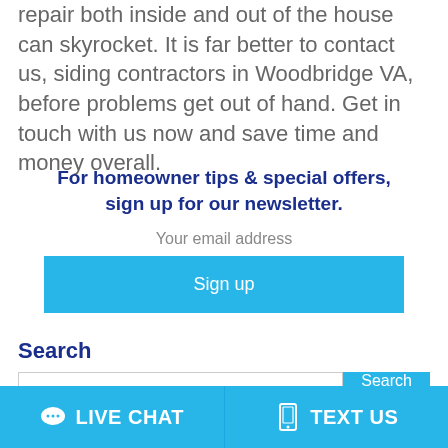repair both inside and out of the house can skyrocket. It is far better to contact us, siding contractors in Woodbridge VA, before problems get out of hand. Get in touch with us now and save time and money overall.
For homeowner tips & special offers, sign up for our newsletter.
Your email address
Sign up
Search
Search
LIVE CHAT
TEXT US